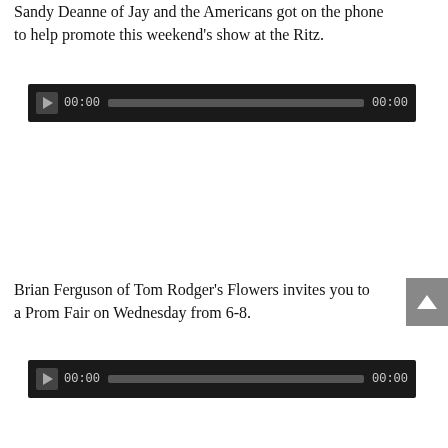Sandy Deanne of Jay and the Americans got on the phone to help promote this weekend's show at the Ritz.
[Figure (screenshot): Audio player widget with dark background, play button, time display showing 00:00, progress bar, and end time 00:00]
Brian Ferguson of Tom Rodger's Flowers invites you to a Prom Fair on Wednesday from 6-8.
[Figure (screenshot): Audio player widget with dark background, play button, time display showing 00:00, progress bar, and end time 00:00]